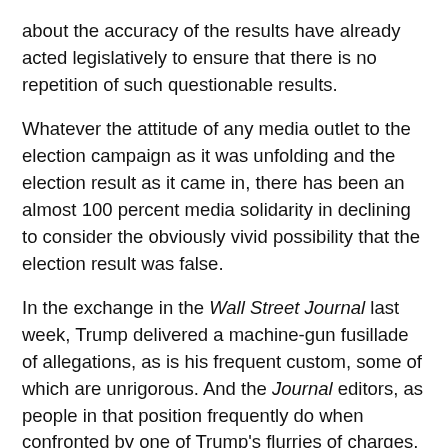about the accuracy of the results have already acted legislatively to ensure that there is no repetition of such questionable results.
Whatever the attitude of any media outlet to the election campaign as it was unfolding and the election result as it came in, there has been an almost 100 percent media solidarity in declining to consider the obviously vivid possibility that the election result was false.
In the exchange in the Wall Street Journal last week, Trump delivered a machine-gun fusillade of allegations, as is his frequent custom, some of which are unrigorous. And the Journal editors, as people in that position frequently do when confronted by one of Trump's flurries of charges, picked out a few of the more vulnerable ones and led the credulous reader to the conclusion that all of Trump's allegations were false or overstated.
In fact, there are tens of millions of unverifiable votes, many of